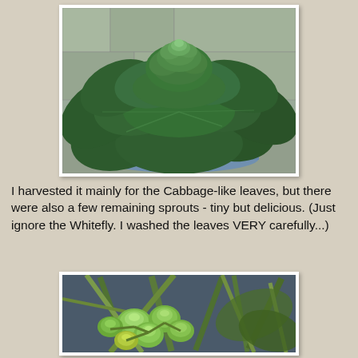[Figure (photo): Top-down view of a large cabbage plant with dark green leaves, sitting in a blue container on a stone surface]
I harvested it mainly for the Cabbage-like leaves, but there were also a few remaining sprouts - tiny but delicious. (Just ignore the Whitefly. I washed the leaves VERY carefully...)
[Figure (photo): Close-up of small Brussels sprouts growing on a plant stem, with surrounding leaves and stalks]